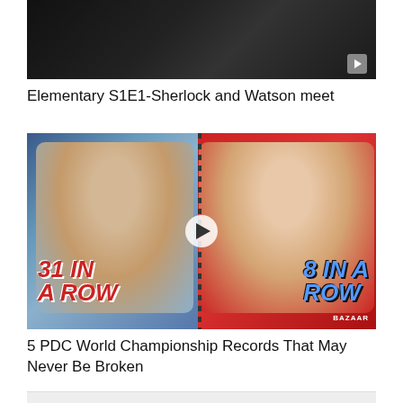[Figure (photo): Dark screenshot from Elementary TV show, S1E1, showing Sherlock and Watson meeting scene. Dark background with a small play/skip icon in bottom right.]
Elementary S1E1-Sherlock and Watson meet
[Figure (photo): Split image of two darts players. Left side shows a player with text '31 IN A ROW' in red bold italic font on a blue background. Right side shows another player with '8 IN A ROW' in blue bold italic text on a red background. BAZAAR watermark bottom right. Dotted dividing line in center.]
5 PDC World Championship Records That May Never Be Broken